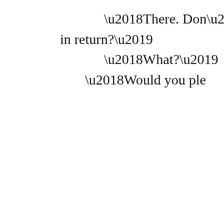‘There. Don’t t… in return?’ ‘What?’ ‘Would you ple…